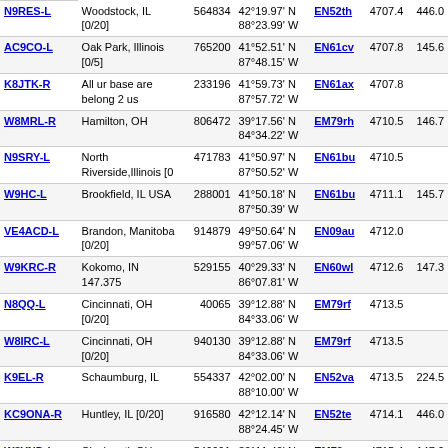| Callsign | Location | ID | Coordinates | Grid | Freq | Extra |
| --- | --- | --- | --- | --- | --- | --- |
| N9RES-L | Woodstock, IL [0/20] | 564834 | 42°19.97' N 88°23.99' W | EN52th | 4707.4 | 446.0 |
| AC9CO-L | Oak Park, Illinois [0/5] | 765200 | 41°52.51' N 87°48.15' W | EN61cv | 4707.8 | 145.6 |
| K8JTK-R | All ur base are belong 2 us | 233196 | 41°59.73' N 87°57.72' W | EN61ax | 4707.8 |  |
| W8MRL-R | Hamilton, OH | 806472 | 39°17.56' N 84°34.22' W | EM79rh | 4710.5 | 146.7 |
| N9SRY-L | North Riverside,Illinois [0 | 471783 | 41°50.97' N 87°50.52' W | EN61bu | 4710.5 |  |
| W9HC-L | Brookfield, IL USA | 288001 | 41°50.18' N 87°50.39' W | EN61bu | 4711.1 | 145.7 |
| VE4ACD-L | Brandon, Manitoba [0/20] | 914879 | 49°50.64' N 99°57.06' W | EN09au | 4712.0 |  |
| W9KRC-R | Kokomo, IN 147.375 | 529155 | 40°29.33' N 86°07.81' W | EN60wl | 4712.6 | 147.3 |
| N8QQ-L | Cincinnati, OH [0/20] | 40065 | 39°12.88' N 84°33.06' W | EM79rf | 4713.5 |  |
| W8IRC-L | Cincinnati, OH [0/20] | 940130 | 39°12.88' N 84°33.06' W | EM79rf | 4713.5 |  |
| K9EL-R | Schaumburg, IL | 554337 | 42°02.00' N 88°10.00' W | EN52va | 4713.5 | 224.5 |
| KC9ONA-R | Huntley, IL [0/20] | 916580 | 42°12.14' N 88°24.45' W | EN52te | 4714.1 | 446.0 |
| W8VND-L | Cincinnati, OH | 546991 | 39°11.40' N | EM79re | 4715.4 | 147.2 |